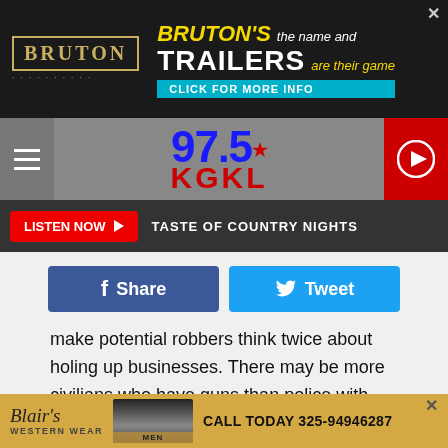[Figure (screenshot): Bruton's Trailers advertisement banner at top of page]
[Figure (logo): 97.5 KGKL radio station logo with hamburger menu and play button]
LISTEN NOW ▶  TASTE OF COUNTRY NIGHTS
f Share   Tweet
make potential robbers think twice about holing up businesses. There may be more civilians who have guns than police with open carry in Texas.
One other thing though, the lawyer side of me wonders if the surviving suspect will try to sue Church's for getting shot at their restaurant? That could be a reality in today's world of everybody suing everybody.
[Figure (screenshot): Blair's Western Wear advertisement at bottom of page with phone number 325-94946287]